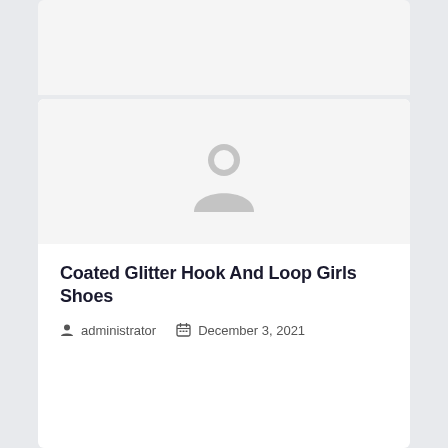[Figure (other): Partially visible card with light gray background at the top of the page]
[Figure (other): Gray user avatar icon (person silhouette with circle head) centered in a light gray image placeholder area]
Coated Glitter Hook And Loop Girls Shoes
administrator   December 3, 2021
[Figure (other): Partially visible white card with a gray inner box at the bottom of the page]